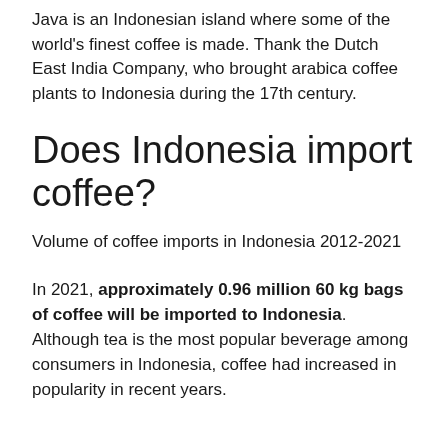Java is an Indonesian island where some of the world's finest coffee is made. Thank the Dutch East India Company, who brought arabica coffee plants to Indonesia during the 17th century.
Does Indonesia import coffee?
Volume of coffee imports in Indonesia 2012-2021
In 2021, approximately 0.96 million 60 kg bags of coffee will be imported to Indonesia. Although tea is the most popular beverage among consumers in Indonesia, coffee had increased in popularity in recent years.